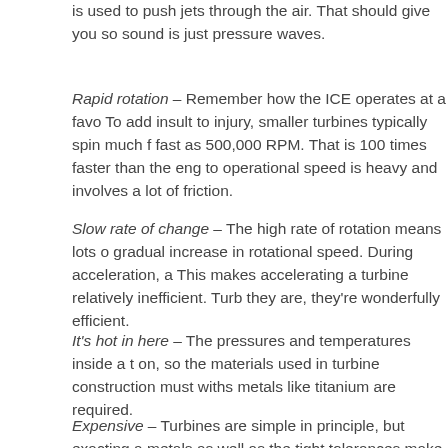is used to push jets through the air. That should give you so sound is just pressure waves.
Rapid rotation – Remember how the ICE operates at a favo To add insult to injury, smaller turbines typically spin much f fast as 500,000 RPM. That is 100 times faster than the eng to operational speed is heavy and involves a lot of friction.
Slow rate of change – The high rate of rotation means lots o gradual increase in rotational speed. During acceleration, a This makes accelerating a turbine relatively inefficient. Turb they are, they're wonderfully efficient.
It's hot in here – The pressures and temperatures inside a t on, so the materials used in turbine construction must withs metals like titanium are required.
Expensive – Turbines are simple in principle, but exacting a metals as well as the tight tolerances make turbines expens